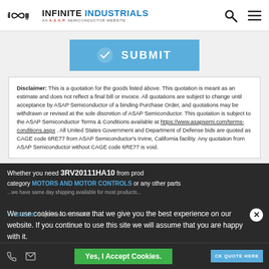Infinite Industrials — An ASAP Semiconductor Website
SUBMIT button
Disclaimer: This is a quotation for the goods listed above. This quotation is meant as an estimate and does not reflect a final bill or invoice. All quotations are subject to change until acceptance by ASAP Semiconductor of a binding Purchase Order, and quotations may be withdrawn or revised at the sole discretion of ASAP Semiconductor. This quotation is subject to the ASAP Semiconductor Terms & Conditions available at https://www.asapsemi.com/terms-conditions.aspx . All United States Government and Department of Defense bids are quoted as CAGE code 6RE77 from ASAP Semiconductor's Irvine, California facility. Any quotation from ASAP Semiconductor without CAGE code 6RE77 is void.
Whether you need 3RV20111HA10 from prod... category Motors And Motor Controls or any other parts... AS9120B... Accredited
We use cookies to ensure that we give you the best experience on our website. If you continue to use this site we will assume that you are happy with it.
Yes, I Accept Cookies.